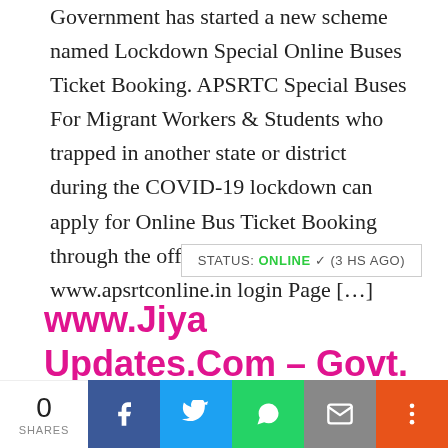Government has started a new scheme named Lockdown Special Online Buses Ticket Booking. APSRTC Special Buses For Migrant Workers & Students who trapped in another state or district during the COVID-19 lockdown can apply for Online Bus Ticket Booking through the official website at www.apsrtconline.in login Page […]
STATUS: ONLINE ✓ (3 HS AGO)
www.Jiya Updates.Com – Govt. Jobs, Admit Card, Answer Key, Result
0 SHARES | Facebook | Twitter | WhatsApp | Email | More